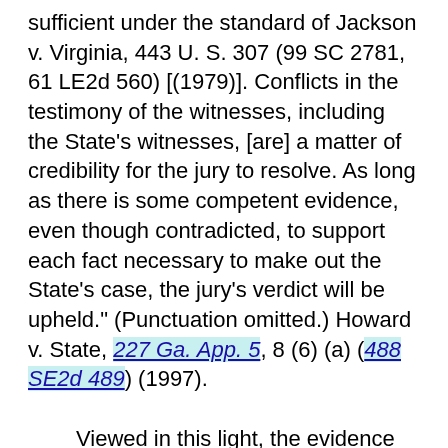sufficient under the standard of Jackson v. Virginia, 443 U. S. 307 (99 SC 2781, 61 LE2d 560) [(1979)]. Conflicts in the testimony of the witnesses, including the State's witnesses, [are] a matter of credibility for the jury to resolve. As long as there is some competent evidence, even though contradicted, to support each fact necessary to make out the State's case, the jury's verdict will be upheld." (Punctuation omitted.) Howard v. State, 227 Ga. App. 5, 8 (6) (a) (488 SE2d 489) (1997).
Viewed in this light, the evidence reveals that Pam Garland was working as the branch manager of the Cleveland Road Wachovia